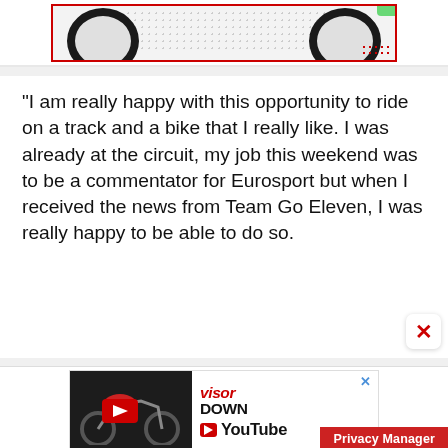[Figure (photo): Partial view of motorcycle tires/wheels on a light background with red border, cropped at top of page]
“I am really happy with this opportunity to ride on a track and a bike that I really like. I was already at the circuit, my job this weekend was to be a commentator for Eurosport but when I received the news from Team Go Eleven, I was really happy to be able to do so.
[Figure (screenshot): Advertisement banner for Visor Down YouTube channel featuring a red motorcycle and YouTube branding, with a Privacy Manager button at bottom right]